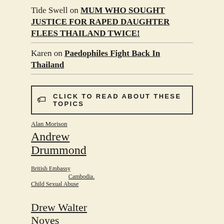Tide Swell on MUM WHO SOUGHT JUSTICE FOR RAPED DAUGHTER FLEES THAILAND TWICE!
Karen on Paedophiles Fight Back In Thailand
🏷 CLICK TO READ ABOUT THESE TOPICS
Alan Morison
Alba Laws
Andrew Drummond
Andy Hall
boiler rooms
British Embassy
Brian Goudie
Cambodia.
Computer Crime Act
Child Sexual Abuse
David Hanks
Drew Walter Noyes
Drew Noyes
drugs
fake lawyer
Flying Sporran